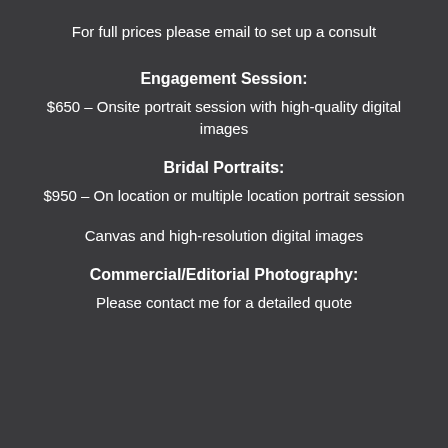For full prices please email to set up a consult
Engagement Session:
$650 – Onsite portrait session with high-quality digital images
Bridal Portraits:
$950 – On location or multiple location portrait session
Canvas and high-resolution digital images
Commercial/Editorial Photography:
Please contact me for a detailed quote